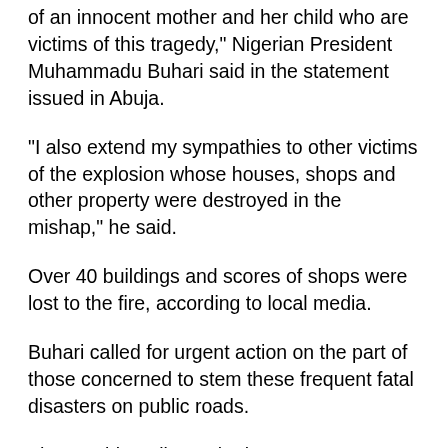of an innocent mother and her child who are victims of this tragedy," Nigerian President Muhammadu Buhari said in the statement issued in Abuja.
"I also extend my sympathies to other victims of the explosion whose houses, shops and other property were destroyed in the mishap," he said.
Over 40 buildings and scores of shops were lost to the fire, according to local media.
Buhari called for urgent action on the part of those concerned to stem these frequent fatal disasters on public roads.
The president directed relevant government ministries and departments, as well as local stakeholders, to urgently address the issue of safety standards in the country, with a view to "stemming the embarrassing frequency of these tragedies".
Andrew Kumapayi, head of the state's Federal Road Safety